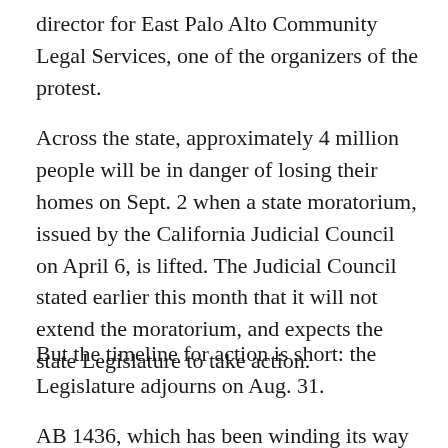director for East Palo Alto Community Legal Services, one of the organizers of the protest.
Across the state, approximately 4 million people will be in danger of losing their homes on Sept. 2 when a state moratorium, issued by the California Judicial Council on April 6, is lifted. The Judicial Council stated earlier this month that it will not extend the moratorium, and expects the state Legislature to take action.
But the timeline for action is short: the Legislature adjourns on Aug. 31.
AB 1436, which has been winding its way through the